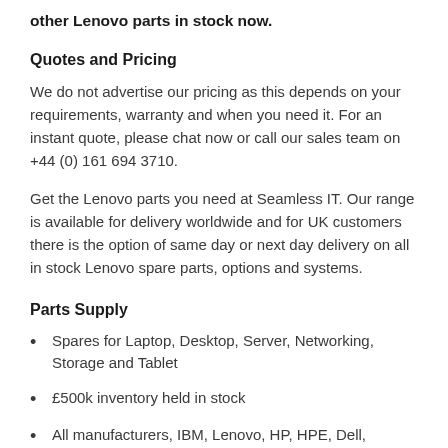other Lenovo parts in stock now.
Quotes and Pricing
We do not advertise our pricing as this depends on your requirements, warranty and when you need it. For an instant quote, please chat now or call our sales team on +44 (0) 161 694 3710.
Get the Lenovo parts you need at Seamless IT. Our range is available for delivery worldwide and for UK customers there is the option of same day or next day delivery on all in stock Lenovo spare parts, options and systems.
Parts Supply
Spares for Laptop, Desktop, Server, Networking, Storage and Tablet
£500k inventory held in stock
All manufacturers, IBM, Lenovo, HP, HPE, Dell, Fujitsu, Acer and many more..